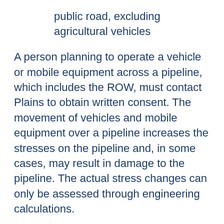public road, excluding agricultural vehicles
A person planning to operate a vehicle or mobile equipment across a pipeline, which includes the ROW, must contact Plains to obtain written consent. The movement of vehicles and mobile equipment over a pipeline increases the stresses on the pipeline and, in some cases, may result in damage to the pipeline. The actual stress changes can only be assessed through engineering calculations.
A thorough assessment of pipeline safety requires detailed knowledge about ground